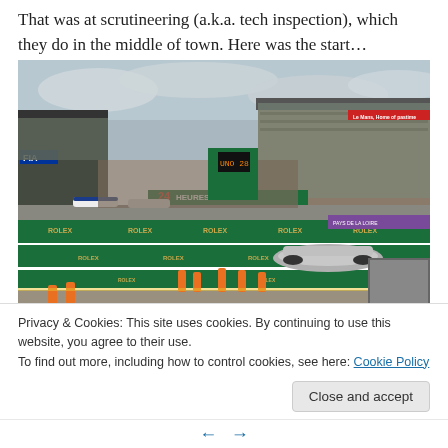That was at scrutineering (a.k.a. tech inspection), which they do in the middle of town. Here was the start…
[Figure (photo): Le Mans 24 Hours race start, showing race cars on the starting grid with large grandstands packed with spectators, pit lane workers in orange, Rolex advertising boards along the pit wall, and the '24 Heures du Mans' signage visible on the pit lane structures.]
Privacy & Cookies: This site uses cookies. By continuing to use this website, you agree to their use.
To find out more, including how to control cookies, see here: Cookie Policy
Close and accept